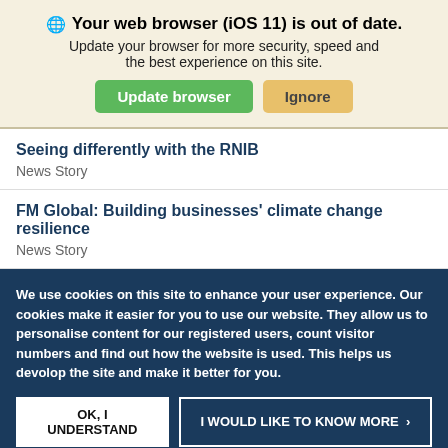🌐 Your web browser (iOS 11) is out of date. Update your browser for more security, speed and the best experience on this site.
Update browser | Ignore
Seeing differently with the RNIB
News Story
FM Global: Building businesses' climate change resilience
News Story
We use cookies on this site to enhance your user experience. Our cookies make it easier for you to use our website. They allow us to personalise content for our registered users, count visitor numbers and find out how the website is used. This helps us devolop the site and make it better for you.
OK, I UNDERSTAND | I WOULD LIKE TO KNOW MORE >